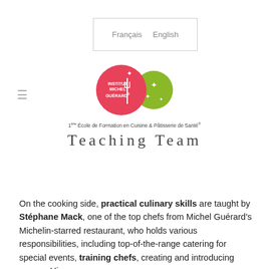Français   English
[Figure (logo): Institut Michel Guérard logo with pink and green overlapping circles, fork and star decorations]
1ère École de Formation en Cuisine & Pâtisserie de Santé®
Teaching Team
On the cooking side, practical culinary skills are taught by Stéphane Mack, one of the top chefs from Michel Guérard's Michelin-starred restaurant, who holds various responsibilities, including top-of-the-range catering for special events, training chefs, creating and introducing menus. His